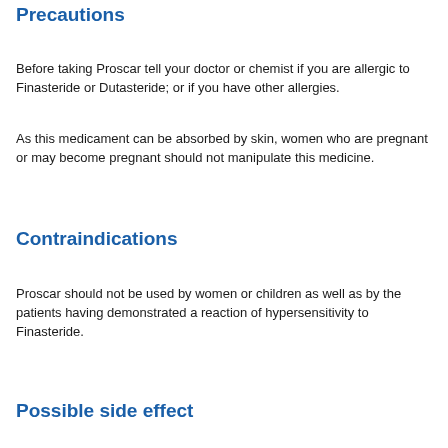Precautions
Before taking Proscar tell your doctor or chemist if you are allergic to Finasteride or Dutasteride; or if you have other allergies.
As this medicament can be absorbed by skin, women who are pregnant or may become pregnant should not manipulate this medicine.
Contraindications
Proscar should not be used by women or children as well as by the patients having demonstrated a reaction of hypersensitivity to Finasteride.
Possible side effect